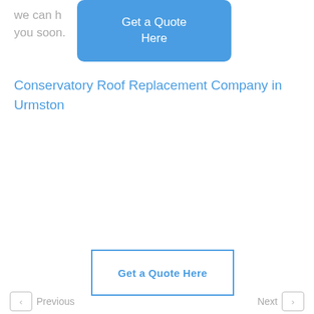we can h… to hearing from you soon.
[Figure (other): Blue rounded button with white text 'Get a Quote Here']
Conservatory Roof Replacement Company in Urmston
[Figure (other): Outlined button with blue text 'Get a Quote Here']
Previous  Next